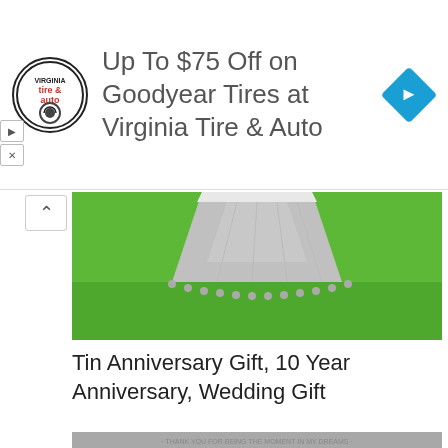[Figure (screenshot): Advertisement banner for Virginia Tire & Auto with tire&auto logo and blue diamond arrow icon]
Up To $75 Off on Goodyear Tires at Virginia Tire & Auto
[Figure (photo): Tin anniversary gift product photo showing silver/metallic decorative item on green background]
Tin Anniversary Gift, 10 Year Anniversary, Wedding Gift
[Figure (photo): Star map print in frame hung on concrete wall with pendant lights, showing circular star constellation map with text 'THANK YOU FOR BEING THE MOMENT IN MY DREAMS']